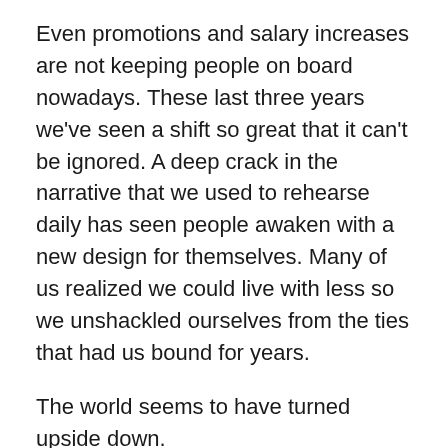Even promotions and salary increases are not keeping people on board nowadays. These last three years we've seen a shift so great that it can't be ignored. A deep crack in the narrative that we used to rehearse daily has seen people awaken with a new design for themselves. Many of us realized we could live with less so we unshackled ourselves from the ties that had us bound for years.
The world seems to have turned upside down.
People are fleeing western countries such as Canada and Italy due to their governments' unduly rash and punitive methods employed to coerce the general population into getting vaccinated. Many are taking refuge in countries that used to be considered unstable, because they feel freer and safer, ironically. Belize, El